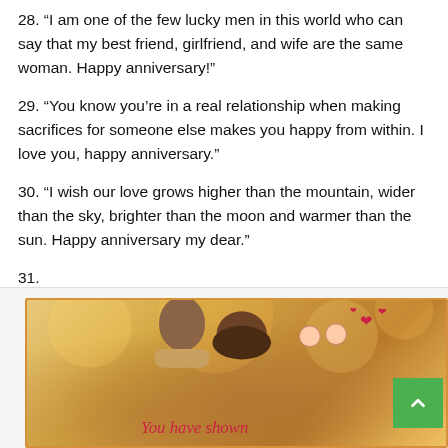28. “I am one of the few lucky men in this world who can say that my best friend, girlfriend, and wife are the same woman. Happy anniversary!”
29. “You know you’re in a real relationship when making sacrifices for someone else makes you happy from within. I love you, happy anniversary.”
30. “I wish our love grows higher than the mountain, wider than the sky, brighter than the moon and warmer than the sun. Happy anniversary my dear.”
31.
[Figure (photo): A romantic photo of a couple embracing outdoors with warm bokeh background, overlaid with a cartoon illustration of a couple kissing with hearts, and cursive red script text partially visible at the bottom reading 'You have shown']